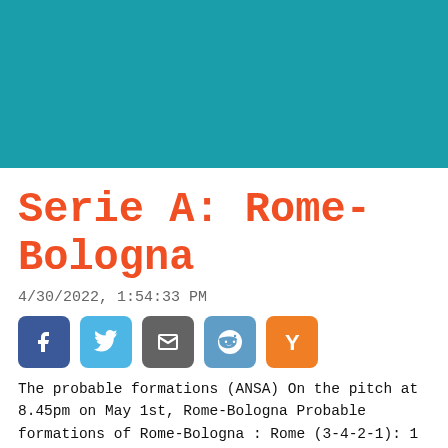[Figure (other): Teal/turquoise header banner image area]
Serie A: Rome-Bologna
4/30/2022, 1:54:33 PM
[Figure (infographic): Social share buttons: Facebook, Twitter, Email, Reddit, Hacker News (Y)]
The probable formations (ANSA) On the pitch at 8.45pm on May 1st, Rome-Bologna Probable formations of Rome-Bologna : Rome (3-4-2-1): 1